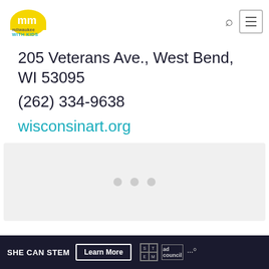[Figure (logo): Milwaukee With Kids logo — yellow dome with 'mm' text above 'milwaukee WITH KIDS' in yellow and teal]
205 Veterans Ave., West Bend, WI 53095
(262) 334-9638
wisconsinart.org
[Figure (other): Image slideshow placeholder with three grey dots indicating slide navigation]
SHE CAN STEM   Learn More